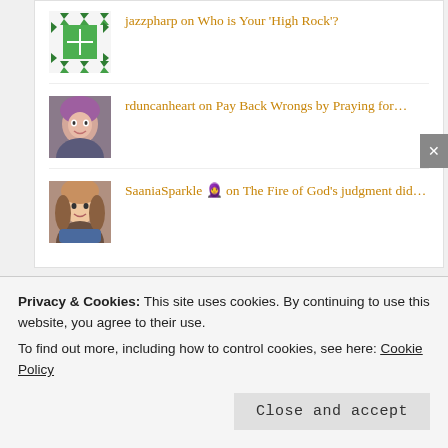jazzpharp on Who is Your 'High Rock'?
rduncanheart on Pay Back Wrongs by Praying for...
SaaniaSparkle 🧕 on The Fire of God's judgment did...
ARCHIVES
Privacy & Cookies: This site uses cookies. By continuing to use this website, you agree to their use. To find out more, including how to control cookies, see here: Cookie Policy
Close and accept